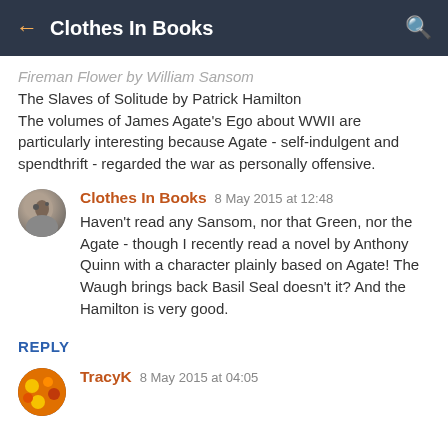Clothes In Books
Fireman Flower by William Sansom
The Slaves of Solitude by Patrick Hamilton
The volumes of James Agate's Ego about WWII are particularly interesting because Agate - self-indulgent and spendthrift - regarded the war as personally offensive.
Clothes In Books  8 May 2015 at 12:48
Haven't read any Sansom, nor that Green, nor the Agate - though I recently read a novel by Anthony Quinn with a character plainly based on Agate! The Waugh brings back Basil Seal doesn't it? And the Hamilton is very good.
REPLY
TracyK  8 May 2015 at 04:05